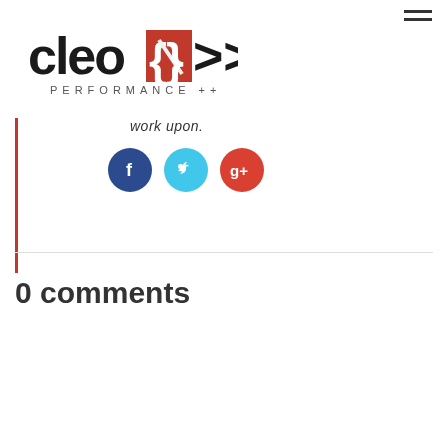[Figure (logo): CLEONIX PERFORMANCE++ logo with red bracket symbol]
work upon.
[Figure (infographic): Three social media circular icon buttons: Facebook (dark blue), Twitter (cyan), Google+ (red)]
0 comments